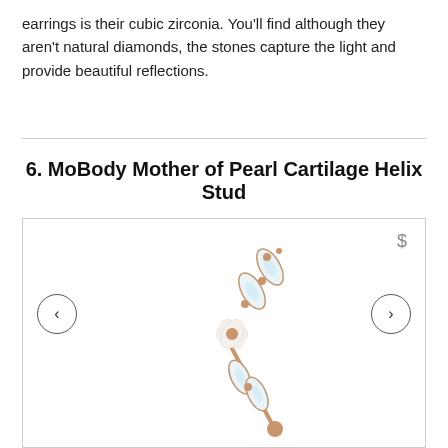earrings is their cubic zirconia. You'll find although they aren't natural diamonds, the stones capture the light and provide beautiful reflections.
6. MoBody Mother of Pearl Cartilage Helix Stud
[Figure (photo): Product image of a rose gold cartilage helix stud earring featuring a mother of pearl flower and marquise-shaped cubic zirconia stones, shown with navigation arrows and a dollar sign icon in the top right corner.]